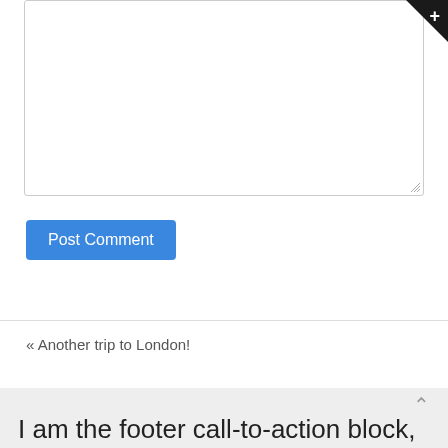[Figure (screenshot): A text area input field (empty, with resize handle) and a dark corner badge with a plus sign in the top-right corner.]
Post Comment
« Another trip to London!
I am the footer call-to-action block, here you